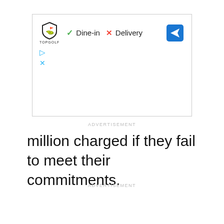[Figure (screenshot): Topgolf advertisement box showing logo, Dine-in checkmark, Delivery X, navigation arrow icon, and smaller play and X icons below]
ADVERTISEMENT
million charged if they fail to meet their commitments.
ADVERTISEMENT